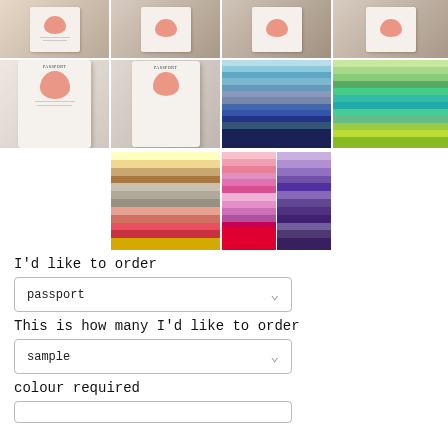[Figure (photo): Grid of 8 product photos showing passport-style wedding stationery with shrimp/moon motif, plus color swatch charts in blue, green, neutral/pink, pink/red, and purple palettes]
I'd like to order
[Figure (screenshot): Dropdown selector showing 'passport' with chevron arrow]
This is how many I'd like to order
[Figure (screenshot): Dropdown selector showing 'sample' with chevron arrow]
colour required